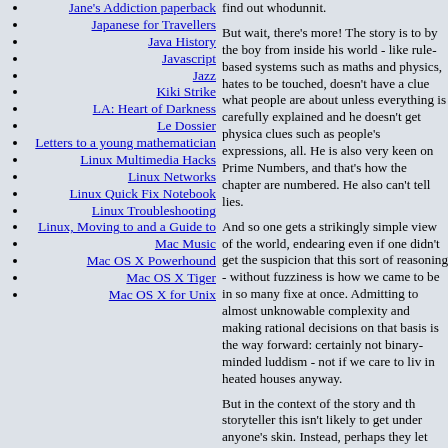Jane's Addiction paperback
Japanese for Travellers
Java History
Javascript
Jazz
Kiki Strike
LA: Heart of Darkness
Le Dossier
Letters to a young mathematician
Linux Multimedia Hacks
Linux Networks
Linux Quick Fix Notebook
Linux Troubleshooting
Linux, Moving to and a Guide to
Mac Music
Mac OS X Powerhound
Mac OS X Tiger
Mac OS X for Unix
find out whodunnit. But wait, there's more! The story is told by the boy from inside his world - like rule-based systems such as maths and physics, hates to be touched, doesn't have a clue what people are about unless everything is carefully explained and he doesn't get physical clues such as people's expressions, all. He is also very keen on Prime Numbers, and that's how the chapters are numbered. He also can't tell lies.
And so one gets a strikingly simple view of the world, endearing even if one didn't get the suspicion that this sort of reasoning - without fuzziness is how we came to be in so many fixes at once. Admitting to almost unknowable complexity and making rational decisions on that basis is the way forward: certainly not binary-minded luddism - not if we care to live in heated houses anyway.
But in the context of the story and the storyteller this isn't likely to get under anyone's skin. Instead, perhaps they let their hidden geek out to play. And to be fair, the boy shows he's alive to